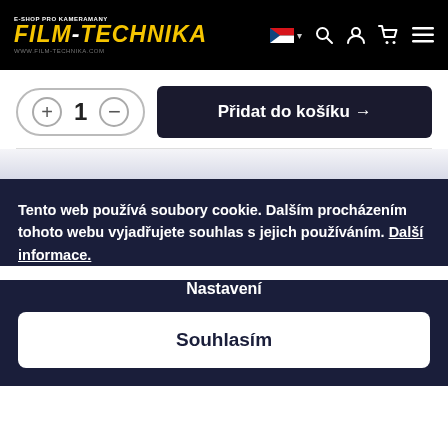FILM-TECHNIKA e-shop pro kameramany www.film-technika.com
[Figure (screenshot): Quantity selector with plus and minus buttons showing number 1, and a dark 'Přidat do košíku →' (Add to cart) button]
Tento web používá soubory cookie. Dalším procházením tohoto webu vyjadřujete souhlas s jejich používáním. Další informace.
Nastavení
Souhlasím